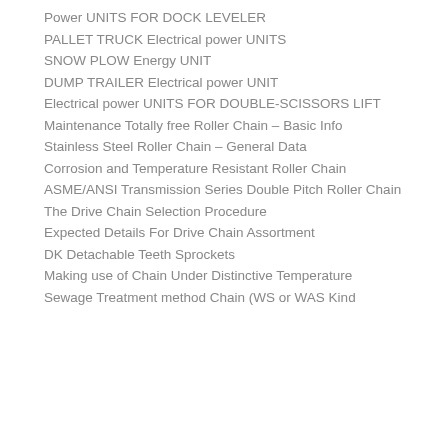Power UNITS FOR DOCK LEVELER
PALLET TRUCK Electrical power UNITS
SNOW PLOW Energy UNIT
DUMP TRAILER Electrical power UNIT
Electrical power UNITS FOR DOUBLE-SCISSORS LIFT
Maintenance Totally free Roller Chain – Basic Info
Stainless Steel Roller Chain – General Data
Corrosion and Temperature Resistant Roller Chain
ASME/ANSI Transmission Series Double Pitch Roller Chain
The Drive Chain Selection Procedure
Expected Details For Drive Chain Assortment
DK Detachable Teeth Sprockets
Making use of Chain Under Distinctive Temperature
Sewage Treatment method Chain (WS or WAS Kind